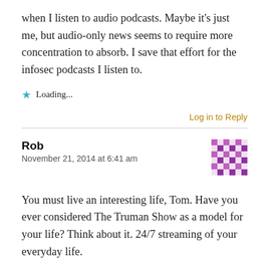when I listen to audio podcasts. Maybe it's just me, but audio-only news seems to require more concentration to absorb. I save that effort for the infosec podcasts I listen to.
★ Loading...
Log in to Reply
Rob
November 21, 2014 at 6:41 am
[Figure (other): User avatar: purple/pink pixelated checkerboard pattern avatar image]
You must live an interesting life, Tom. Have you ever considered The Truman Show as a model for your life? Think about it. 24/7 streaming of your everyday life.
★ Loading...